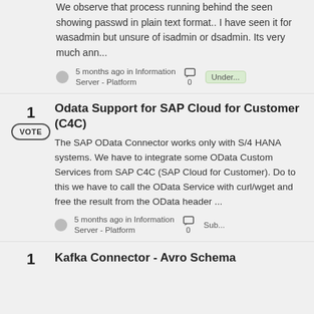We observe that process running behind the seen showing passwd in plain text format.. I have seen it for wasadmin but unsure of isadmin or dsadmin. Its very much ann...
5 months ago in Information Server - Platform  0  Under...
Odata Support for SAP Cloud for Customer (C4C)
The SAP OData Connector works only with S/4 HANA systems. We have to integrate some OData Custom Services from SAP C4C (SAP Cloud for Customer). Do to this we have to call the OData Service with curl/wget and free the result from the OData header ...
5 months ago in Information Server - Platform  0  Sub...
Kafka Connector - Avro Schema